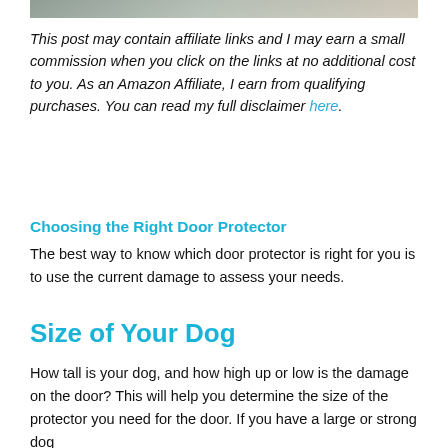[Figure (photo): Partial view of a photo strip at top of page, showing blurred animal/dog imagery]
This post may contain affiliate links and I may earn a small commission when you click on the links at no additional cost to you. As an Amazon Affiliate, I earn from qualifying purchases. You can read my full disclaimer here.
Choosing the Right Door Protector
The best way to know which door protector is right for you is to use the current damage to assess your needs.
Size of Your Dog
How tall is your dog, and how high up or low is the damage on the door? This will help you determine the size of the protector you need for the door. If you have a large or strong dog